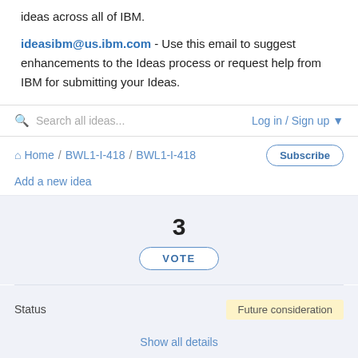ideas across all of IBM.
ideasibm@us.ibm.com - Use this email to suggest enhancements to the Ideas process or request help from IBM for submitting your Ideas.
Search all ideas...
Log in / Sign up
Home / BWL1-I-418 / BWL1-I-418
Add a new idea
Subscribe
3
VOTE
Status
Future consideration
Show all details